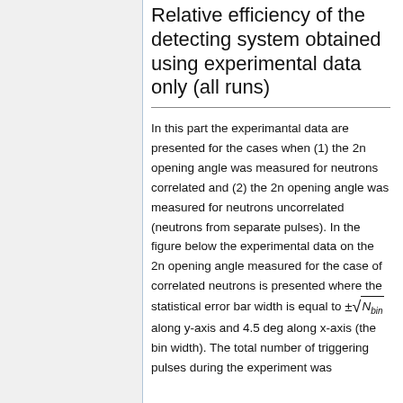Relative efficiency of the detecting system obtained using experimental data only (all runs)
In this part the experimantal data are presented for the cases when (1) the 2n opening angle was measured for neutrons correlated and (2) the 2n opening angle was measured for neutrons uncorrelated (neutrons from separate pulses). In the figure below the experimental data on the 2n opening angle measured for the case of correlated neutrons is presented where the statistical error bar width is equal to ±√N_bin along y-axis and 4.5 deg along x-axis (the bin width). The total number of triggering pulses during the experiment was